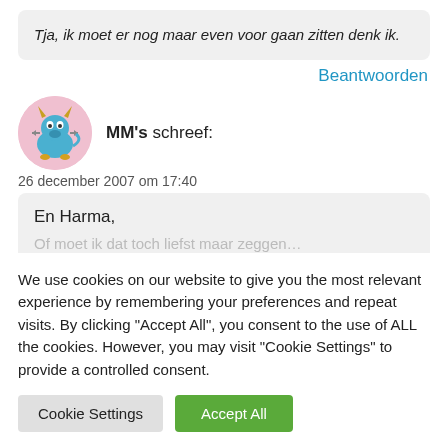Tja, ik moet er nog maar even voor gaan zitten denk ik.
Beantwoorden
[Figure (illustration): Avatar of MM's: a cartoon blue bull/monster character on a pink circle background]
MM's schreef:
26 december 2007 om 17:40
En Harma,
We use cookies on our website to give you the most relevant experience by remembering your preferences and repeat visits. By clicking "Accept All", you consent to the use of ALL the cookies. However, you may visit "Cookie Settings" to provide a controlled consent.
Cookie Settings
Accept All